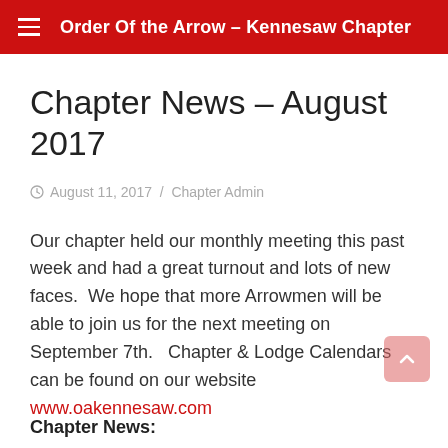Order Of the Arrow – Kennesaw Chapter
Chapter News – August 2017
August 11, 2017  /  Chapter Admin
Our chapter held our monthly meeting this past week and had a great turnout and lots of new faces.  We hope that more Arrowmen will be able to join us for the next meeting on September 7th.   Chapter & Lodge Calendars can be found on our website www.oakennesaw.com
Chapter News: